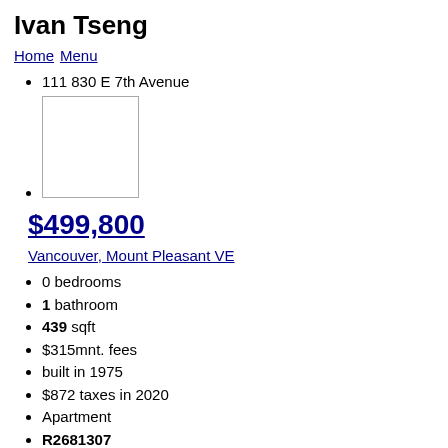Ivan Tseng
Home Menu
111 830 E 7th Avenue
[Figure (photo): Placeholder image box (property photo)]
$499,800
Vancouver, Mount Pleasant VE
0 bedrooms
1 bathroom
439 sqft
$315mnt. fees
built in 1975
$872 taxes in 2020
Apartment
R2681307